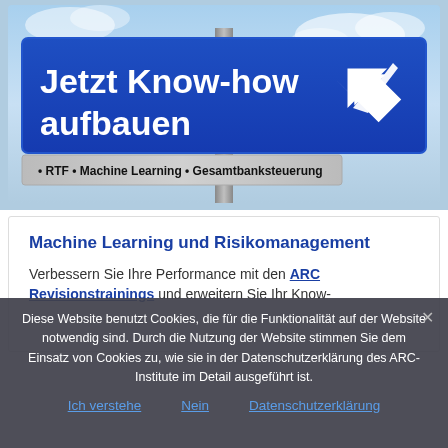[Figure (illustration): A blue road sign reading 'Jetzt Know-how aufbauen' with a white arrow pointing upper-right, mounted on gray poles against a blue sky. A gray sub-sign reads '• RTF • Machine Learning • Gesamtbanksteuerung'.]
Machine Learning und Risikomanagement
Verbessern Sie Ihre Performance mit den ARC Revisionstrainings und erweitern Sie Ihr Know-
Diese Website benutzt Cookies, die für die Funktionalität auf der Website notwendig sind. Durch die Nutzung der Website stimmen Sie dem Einsatz von Cookies zu, wie sie in der Datenschutzerklärung des ARC-Institute im Detail ausgeführt ist.
Ich verstehe
Nein
Datenschutzerklärung